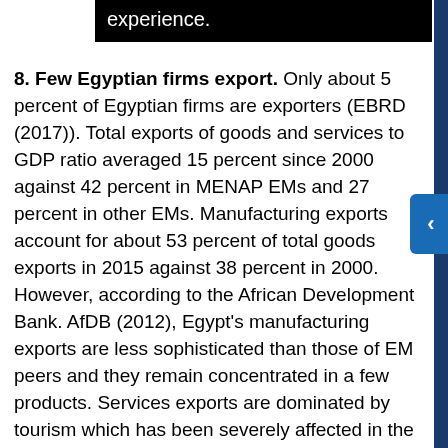[Figure (other): Black banner at top with white text showing partial text 'experience.']
8. Few Egyptian firms export. Only about 5 percent of Egyptian firms are exporters (EBRD (2017)). Total exports of goods and services to GDP ratio averaged 15 percent since 2000 against 42 percent in MENAP EMs and 27 percent in other EMs. Manufacturing exports account for about 53 percent of total goods exports in 2015 against 38 percent in 2000. However, according to the African Development Bank. AfDB (2012), Egypt's manufacturing exports are less sophisticated than those of EM peers and they remain concentrated in a few products. Services exports are dominated by tourism which has been severely affected in the last few years.
9. Egypt's economic model hasn't generated enough jobs. The employment elasticity of growth is relatively low. Activity has been concentrated in capital rather than labor intensive industries. Young firms appear to be more dynamic and create more jobs but they face constraints to expansion and remain small. Seventy percent of private non-agricultural employment is